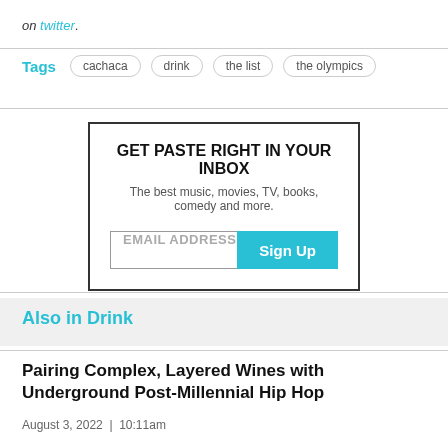on twitter.
Tags  cachaca  drink  the list  the olympics
[Figure (other): Newsletter signup box with title 'GET PASTE RIGHT IN YOUR INBOX', subtitle 'The best music, movies, TV, books, comedy and more.', email input field and Sign Up button]
Also in Drink
Pairing Complex, Layered Wines with Underground Post-Millennial Hip Hop
August 3, 2022  |  10:11am